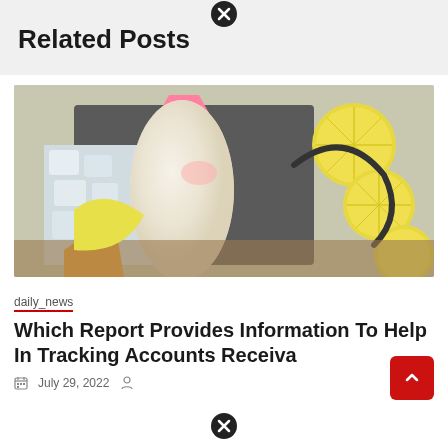Related Posts
[Figure (photo): Photo of lemon popsicles/ice lollies with pink sticks on ice, surrounded by lemon slices on a wooden surface]
daily_news
Which Report Provides Information To Help In Tracking Accounts Receiva
July 29, 2022